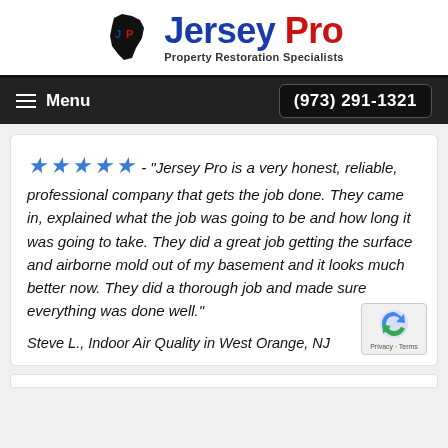[Figure (logo): Jersey Pro logo with NJ state silhouette icon, 'Jersey Pro' in blue and red bold text, and tagline 'Property Restoration Specialists']
Menu  (973) 291-1321
★★★★★ - "Jersey Pro is a very honest, reliable, professional company that gets the job done. They came in, explained what the job was going to be and how long it was going to take. They did a great job getting the surface and airborne mold out of my basement and it looks much better now. They did a thorough job and made sure everything was done well."
Steve L., Indoor Air Quality in West Orange, NJ